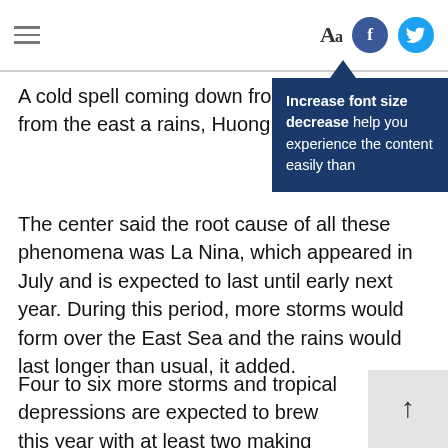≡  Aa  [Facebook] [Twitter]
[Figure (screenshot): Tooltip popup with dark blue background reading: 'Increase font size decrease help you experience the content easily than']
A cold spell coming down from meeting winds from the east a rains, Huong said.
The center said the root cause of all these phenomena was La Nina, which appeared in July and is expected to last until early next year. During this period, more storms would form over the East Sea and the rains would last longer than usual, it added.
Four to six more storms and tropical depressions are expected to brew this year with at least two making landfall over the central coast.